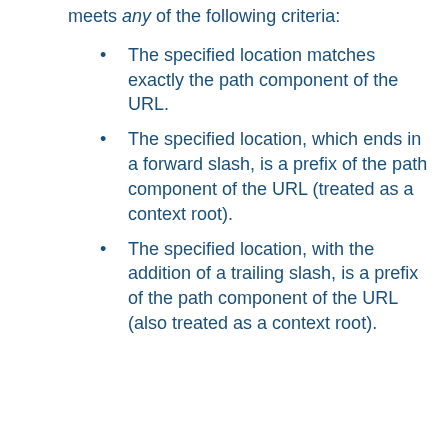meets any of the following criteria:
The specified location matches exactly the path component of the URL.
The specified location, which ends in a forward slash, is a prefix of the path component of the URL (treated as a context root).
The specified location, with the addition of a trailing slash, is a prefix of the path component of the URL (also treated as a context root).